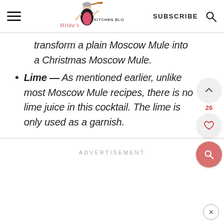Hilda's Kitchen Blog | SUBSCRIBE
transform a plain Moscow Mule into a Christmas Moscow Mule.
Lime — As mentioned earlier, unlike most Moscow Mule recipes, there is no lime juice in this cocktail. The lime is only used as a garnish.
ADVERTISEMENT